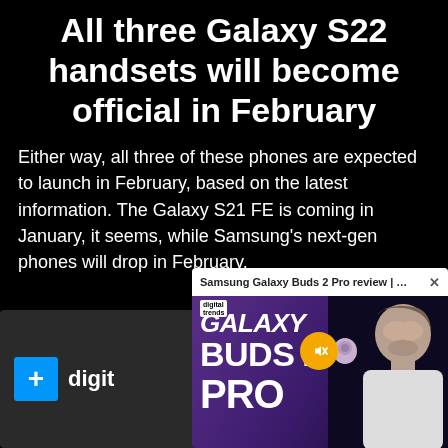All three Galaxy S22 handsets will become official in February
Either way, all three of these phones are expected to launch in February, based on the latest information. The Galaxy S21 FE is coming in January, it seems, while Samsung's next-gen phones will drop in February.
[Figure (screenshot): Two overlapping media thumbnails on a black background. Left thumbnail shows the Digital Trends logo (blue square with white plus sign) and partial text 'digit'. Right thumbnail is a video popup titled 'Samsung Galaxy Buds 2 Pro review | Gr...' with an X close button, showing a purple background with 'GALAXY BUDS 2 PRO' text, a mute icon, a small Digital Trends logo, a lavender earbud, and a man in a white shirt on the right side.]